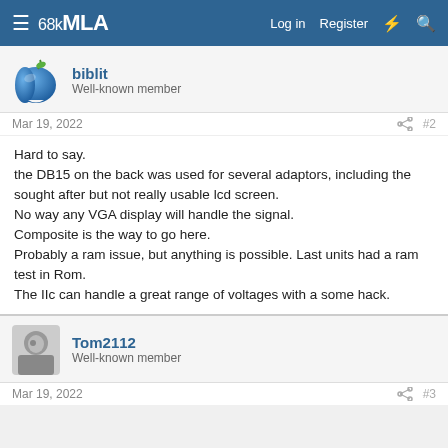68kMLA — Log in  Register
biblit
Well-known member
Mar 19, 2022   #2
Hard to say.
the DB15 on the back was used for several adaptors, including the sought after but not really usable lcd screen.
No way any VGA display will handle the signal.
Composite is the way to go here.
Probably a ram issue, but anything is possible. Last units had a ram test in Rom.
The IIc can handle a great range of voltages with a some hack.
Tom2112
Well-known member
Mar 19, 2022   #3